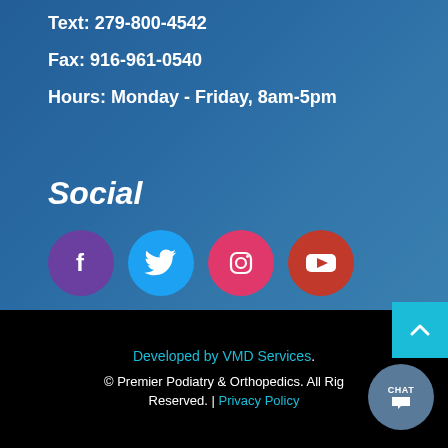Text: 279-800-4542
Fax: 916-961-0540
Hours: Monday - Friday, 8am-5pm
Social
[Figure (infographic): Four social media icons in circular buttons: Facebook (purple), Twitter (light blue), Instagram (pink/red), YouTube (dark red)]
Developed by VMD Services. © Premier Podiatry & Orthopedics. All Rights Reserved. | Privacy Policy